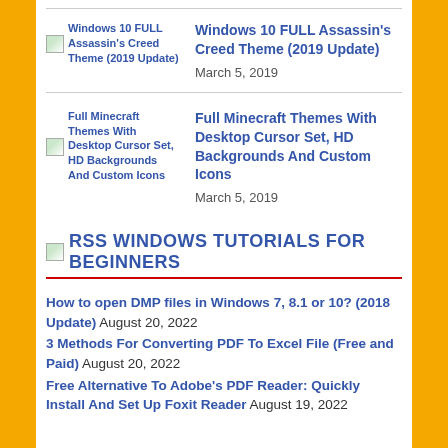[Figure (other): Thumbnail image placeholder for Windows 10 FULL Assassin's Creed Theme (2019 Update) article with link text]
Windows 10 FULL Assassin's Creed Theme (2019 Update)
March 5, 2019
[Figure (other): Thumbnail image placeholder for Full Minecraft Themes With Desktop Cursor Set, HD Backgrounds And Custom Icons article with link text]
Full Minecraft Themes With Desktop Cursor Set, HD Backgrounds And Custom Icons
March 5, 2019
RSS WINDOWS TUTORIALS FOR BEGINNERS
How to open DMP files in Windows 7, 8.1 or 10? (2018 Update) August 20, 2022
3 Methods For Converting PDF To Excel File (Free and Paid) August 20, 2022
Free Alternative To Adobe's PDF Reader: Quickly Install And Set Up Foxit Reader August 19, 2022